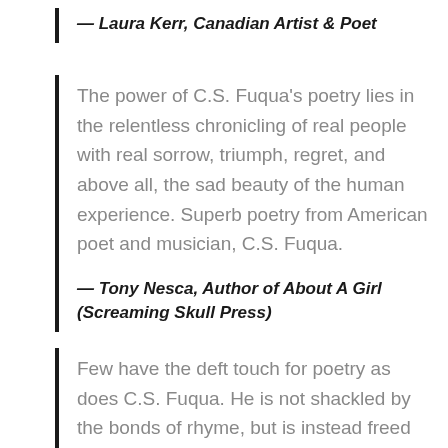— Laura Kerr, Canadian Artist & Poet
The power of C.S. Fuqua's poetry lies in the relentless chronicling of real people with real sorrow, triumph, regret, and above all, the sad beauty of the human experience. Superb poetry from American poet and musician, C.S. Fuqua.
— Tony Nesca, Author of About A Girl (Screaming Skull Press)
Few have the deft touch for poetry as does C.S. Fuqua. He is not shackled by the bonds of rhyme, but is instead freed by language,